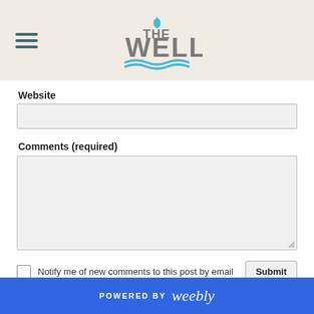THE WELL
Website
Comments (required)
Notify me of new comments to this post by email
POWERED BY weebly